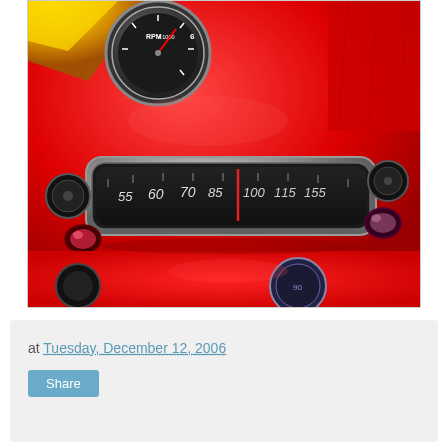[Figure (photo): Close-up photograph of a vintage red car dashboard showing a speedometer with numbers 55, 60, 70, 85, 100, 115, 155 and an RPM gauge in the upper left corner. The car is bright red with chrome instrument cluster details and round buttons/knobs visible.]
at Tuesday, December 12, 2006
Share